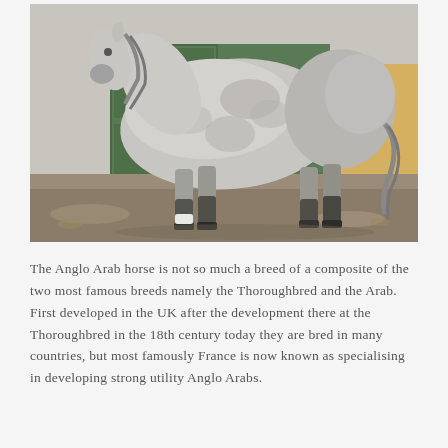[Figure (photo): A grey Anglo Arab horse standing outdoors in front of a green and yellow wooden stable building. The horse is light grey/dapple grey in color, photographed from the side showing its full body. The ground is sandy/dirt.]
The Anglo Arab horse is not so much a breed of a composite of the two most famous breeds namely the Thoroughbred and the Arab. First developed in the UK after the development there at the Thoroughbred in the 18th century today they are bred in many countries, but most famously France is now known as specialising in developing strong utility Anglo Arabs.